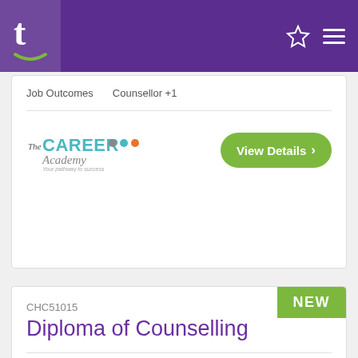t (Tafe / training site logo) with star and menu icons
Job Outcomes   Counsellor +1
[Figure (logo): The Career Academy logo - Your pathway to success]
View Details >
NEW
CHC51015
Diploma of Counselling
Study Method   Online
Location   Anywhere
Job Outcomes   Community Services Worker +3
[Figure (logo): TrainSmart Australia logo]
View Details >